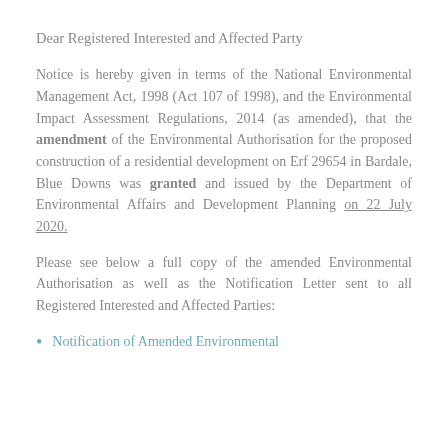Dear Registered Interested and Affected Party
Notice is hereby given in terms of the National Environmental Management Act, 1998 (Act 107 of 1998), and the Environmental Impact Assessment Regulations, 2014 (as amended), that the amendment of the Environmental Authorisation for the proposed construction of a residential development on Erf 29654 in Bardale, Blue Downs was granted and issued by the Department of Environmental Affairs and Development Planning on 22 July 2020.
Please see below a full copy of the amended Environmental Authorisation as well as the Notification Letter sent to all Registered Interested and Affected Parties:
Notification of Amended Environmental